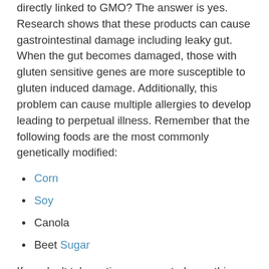directly linked to GMO? The answer is yes. Research shows that these products can cause gastrointestinal damage including leaky gut. When the gut becomes damaged, those with gluten sensitive genes are more susceptible to gluten induced damage. Additionally, this problem can cause multiple allergies to develop leading to perpetual illness. Remember that the following foods are the most commonly genetically modified:
Corn
Soy
Canola
Beet Sugar
If we don't take action now, control over this issue will be lost, and our food supply will be